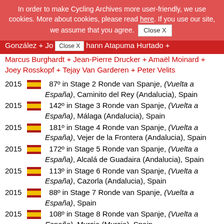In order to make Cycling Archives more user-friendly, we use cookies. More about cookies, please read here. If you use our site, we assume that you agree. [Close X]
España), Alejandro (Andalucia), Spain + Gustavo Sánchez González + Johann Atapuma Hurtado + Marcus Burghardt + Jean-Pierre Drucker + Amaël Moinard + Joey Rosskopf + Tejay Van Garderen + Peter Velits
2015 [ES] 87º in Stage 2 Ronde van Spanje, (Vuelta a España), Caminito del Rey (Andalucia), Spain
2015 [ES] 142º in Stage 3 Ronde van Spanje, (Vuelta a España), Málaga (Andalucia), Spain
2015 [ES] 181º in Stage 4 Ronde van Spanje, (Vuelta a España), Vejer de la Frontera (Andalucia), Spain
2015 [ES] 172º in Stage 5 Ronde van Spanje, (Vuelta a España), Alcalá de Guadaira (Andalucia), Spain
2015 [ES] 113º in Stage 6 Ronde van Spanje, (Vuelta a España), Cazorla (Andalucia), Spain
2015 [ES] 88º in Stage 7 Ronde van Spanje, (Vuelta a España), Spain
2015 [ES] 108º in Stage 8 Ronde van Spanje, (Vuelta a España), Murcia (Murcia), Spain
2015 [ES] 93º in Stage 9 Ronde van Spanje, (Vuelta a España), Alicante (Comunidad Valenciana), Spain